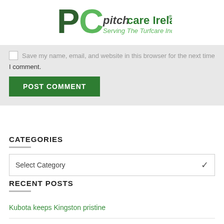[Figure (logo): Pitchcare Ireland logo with green PC letters and text 'pitchcare Ireland® Serving The Turfcare Industry']
Save my name, email, and website in this browser for the next time I comment.
POST COMMENT
CATEGORIES
Select Category
RECENT POSTS
Kubota keeps Kingston pristine
STIHL launches most powerful cordless top handle chainsaw
Monumental renovations at Stoneham Golf Club
Foley combination couldn't have been better at St Andrews for the 150th